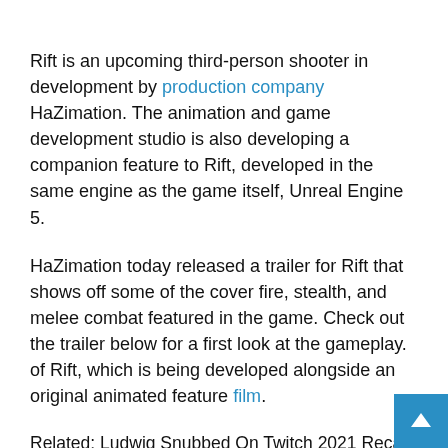Rift is an upcoming third-person shooter in development by production company HaZimation. The animation and game development studio is also developing a companion feature to Rift, developed in the same engine as the game itself, Unreal Engine 5.
HaZimation today released a trailer for Rift that shows off some of the cover fire, stealth, and melee combat featured in the game. Check out the trailer below for a first look at the gameplay. of Rift, which is being developed alongside an original animated feature film.
Related: Ludwig Snubbed On Twitch 2021 Recap
In Rift, your objective is to protect a boy named Max from a "science research center fortress" called Axiom. Max has special psychokinetic abilities that you can use to fight the